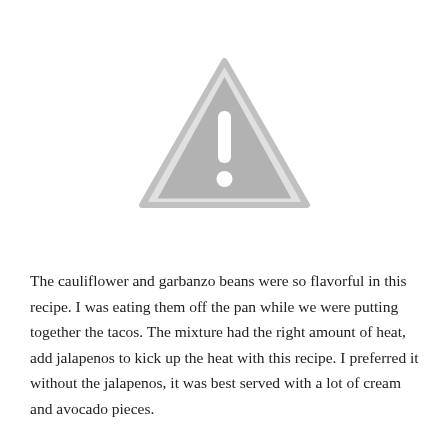[Figure (illustration): A gray warning/caution triangle icon with an exclamation mark inside, outlined with a lighter gray border.]
The cauliflower and garbanzo beans were so flavorful in this recipe. I was eating them off the pan while we were putting together the tacos. The mixture had the right amount of heat, add jalapenos to kick up the heat with this recipe. I preferred it without the jalapenos, it was best served with a lot of cream and avocado pieces.